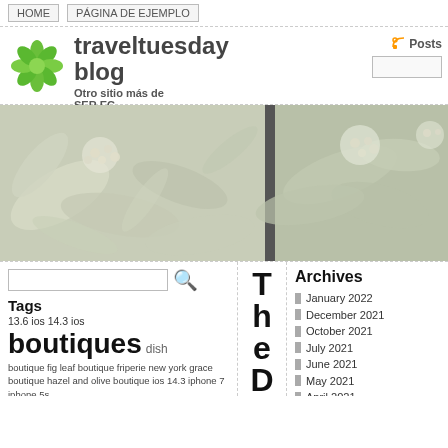HOME   PÁGINA DE EJEMPLO
traveltuesdayblog
Otro sitio más de SER.EC
[Figure (photo): Close-up photos of white/green flowering plants with blurry bokeh background, two panels side by side]
Tags
13.6 ios 14.3 ios boutiques dish boutique fig leaf boutique friperie new york grace boutique hazel and olive boutique ios 14.3 iphone 7 iphone 5s
T h e D .
Archives
January 2022
December 2021
October 2021
July 2021
June 2021
May 2021
April 2021
March 2021